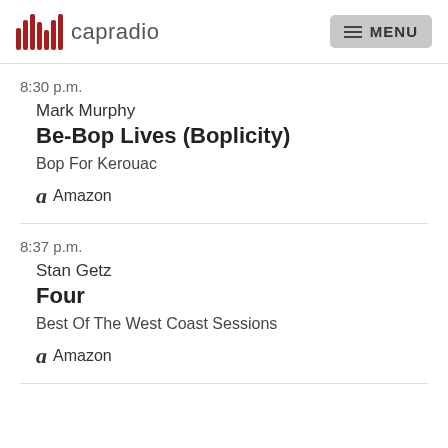capradio MENU
8:30 p.m.
Mark Murphy
Be-Bop Lives (Boplicity)
Bop For Kerouac
Amazon
8:37 p.m.
Stan Getz
Four
Best Of The West Coast Sessions
Amazon